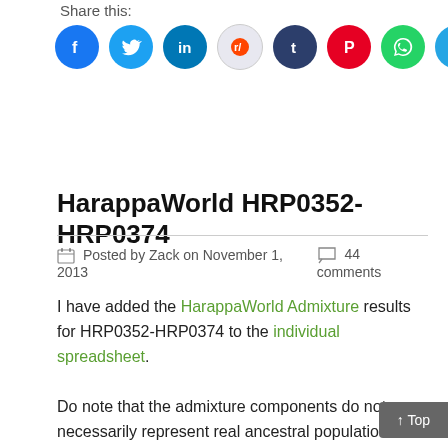Share this:
[Figure (infographic): Row of social media share icon buttons: Facebook (blue), Twitter (light blue), LinkedIn (dark blue), Reddit (light gray), Tumblr (dark navy), Pinterest (red), WhatsApp (green), Telegram (light blue), Email (light gray)]
HarappaWorld HRP0352-HRP0374
Posted by Zack on November 1, 2013   44 comments
I have added the HarappaWorld Admixture results for HRP0352-HRP0374 to the individual spreadsheet.

Do note that the admixture components do not necessarily represent real ancestral populations. Also, the names I have chosen for the components should be thought of as mnemonics to ease discussion. I chose them based on which populations in my data these components peaked in. They do not tell anything directly about ancestral populations. The best way to look at these admixture results is by comparing individuals and populations. Finally, the standard error estimates on these results can be about 1%. Therefore, it is entirely possible that your 1% exotic admixture res…